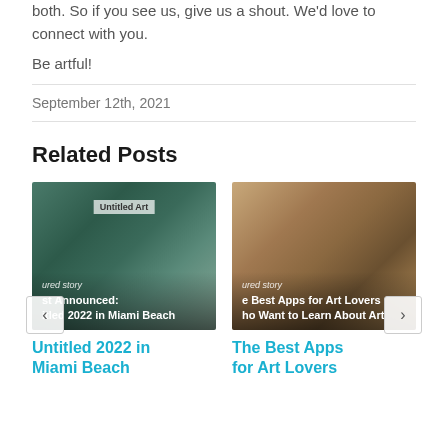both. So if you see us, give us a shout. We'd love to connect with you.
Be artful!
September 12th, 2021
Related Posts
[Figure (photo): Image of Untitled Art fair building with crowd of people in Miami Beach]
Untitled 2022 in Miami Beach
[Figure (photo): Image of a woman smiling and using a phone, sitting in front of artworks]
The Best Apps for Art Lovers